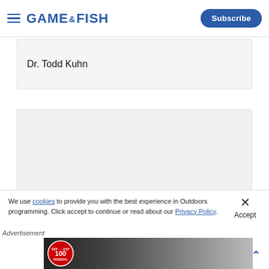GAME&FISH — Subscribe
Dr. Todd Kuhn
[Figure (other): Gray placeholder advertisement box]
We use cookies to provide you with the best experience in Outdoors programming. Click accept to continue or read about our Privacy Policy.
Advertisement
[Figure (photo): Federal 100th anniversary advertisement banner showing a person in a mask working with equipment]